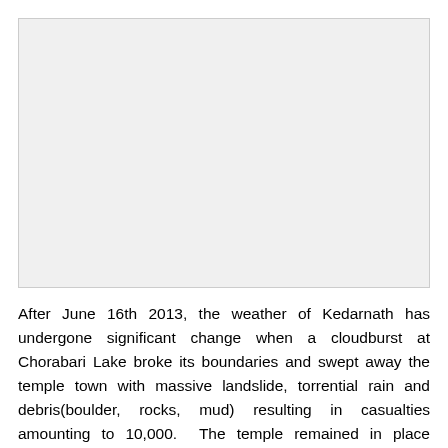[Figure (photo): Blank/empty image placeholder area at the top of the page]
After June 16th 2013, the weather of Kedarnath has undergone significant change when a cloudburst at Chorabari Lake broke its boundaries and swept away the temple town with massive landslide, torrential rain and debris(boulder, rocks, mud) resulting in casualties amounting to 10,000.  The temple remained in place surviving the disaster but everything surrounding the little hamlet had no protection when the floods flow